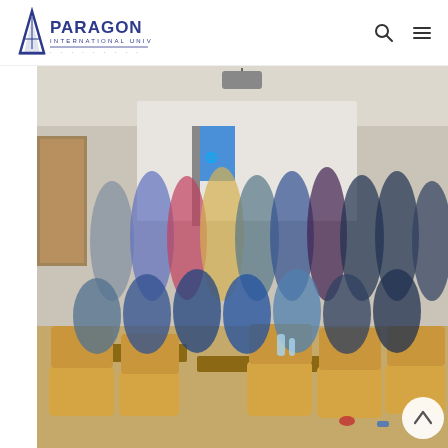Paragon International University
[Figure (photo): Group photo of students and faculty inside a classroom/conference room at Paragon International University. A large group of approximately 40 students and staff are posing together, with wooden chairs visible in the foreground and a projection screen and blue UN flag visible in the background.]